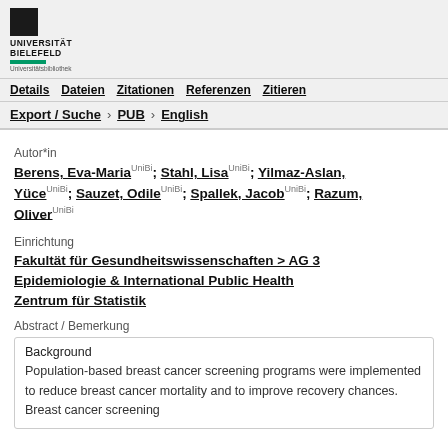UNIVERSITÄT BIELEFELD Universitätsbibliothek
Details | Dateien | Zitationen | Referenzen | Zitieren
Export / Suche › PUB › English
Autor*in
Berens, Eva-Maria UniBi; Stahl, Lisa UniBi; Yilmaz-Aslan, Yüce UniBi; Sauzet, Odile UniBi; Spallek, Jacob UniBi; Razum, Oliver UniBi
Einrichtung
Fakultät für Gesundheitswissenschaften > AG 3 Epidemiologie & International Public Health
Zentrum für Statistik
Abstract / Bemerkung
Background
Population-based breast cancer screening programs were implemented to reduce breast cancer mortality and to improve recovery chances. Breast cancer screening